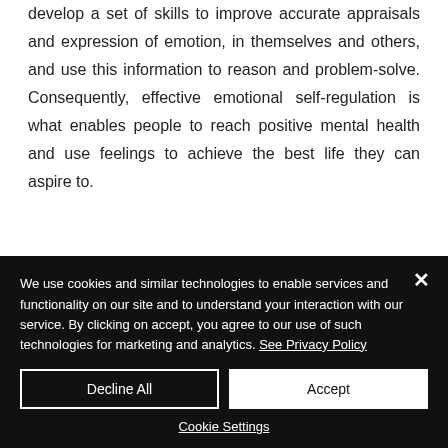develop a set of skills to improve accurate appraisals and expression of emotion, in themselves and others, and use this information to reason and problem-solve. Consequently, effective emotional self-regulation is what enables people to reach positive mental health and use feelings to achieve the best life they can aspire to.
We use cookies and similar technologies to enable services and functionality on our site and to understand your interaction with our service. By clicking on accept, you agree to our use of such technologies for marketing and analytics. See Privacy Policy